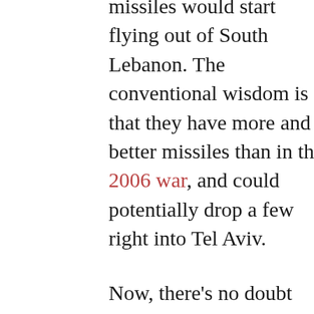missiles would start flying out of South Lebanon. The conventional wisdom is that they have more and better missiles than in the 2006 war, and could potentially drop a few right into Tel Aviv.
Now, there's no doubt that the IDF would dearly love a chance to have